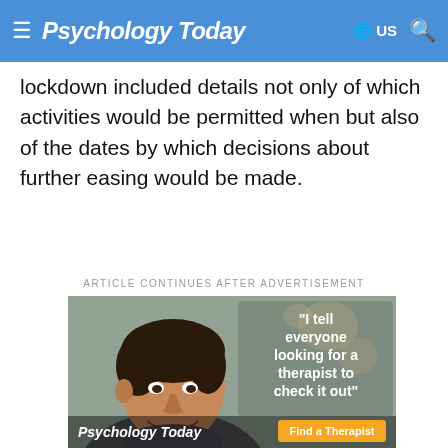Psychology Today — US
lockdown included details not only of which activities would be permitted when but also of the dates by which decisions about further easing would be made.
ARTICLE CONTINUES AFTER ADVERTISEMENT
[Figure (photo): Psychology Today advertisement showing a smiling young man with text 'I tell everyone looking for a therapist to check it out' and a 'Find a Therapist' button]